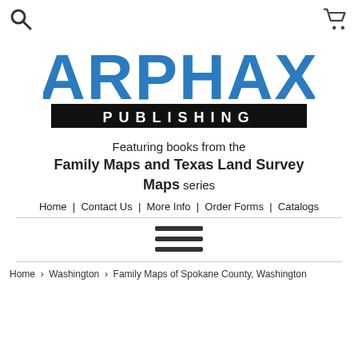Arphax Publishing — search and cart icons
[Figure (logo): Arphax Publishing logo with blue stylized text 'ARPHAX' above a black bar with white text 'PUBLISHING']
Featuring books from the Family Maps and Texas Land Survey Maps series
Home | Contact Us | More Info | Order Forms | Catalogs
[Figure (other): Hamburger menu icon with three horizontal lines]
Home › Washington › Family Maps of Spokane County, Washington